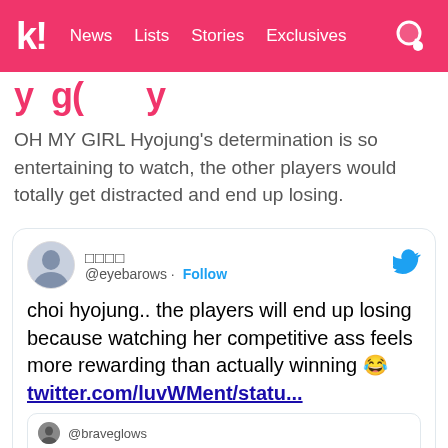Koreaboo | News  Lists  Stories  Exclusives
[partial title visible]
OH MY GIRL Hyojung's determination is so entertaining to watch, the other players would totally get distracted and end up losing.
[Figure (screenshot): Embedded tweet from @eyebarows: choi hyojung.. the players will end up losing because watching her competitive ass feels more rewarding than actually winning 😂 twitter.com/luvWMent/statu... with quoted tweet from @braveglows: which kpop idol would win squid game]